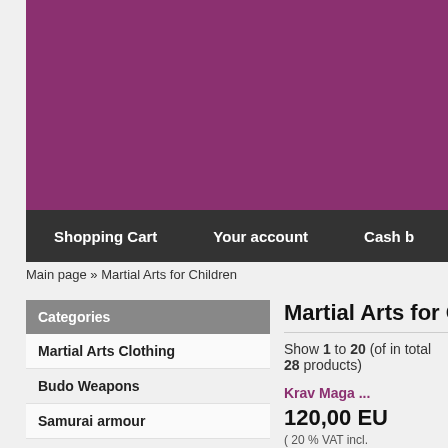[Figure (other): Purple/magenta banner header area for martial arts e-commerce website]
Shopping Cart   Your account   Cash b
Main page » Martial Arts for Children
Categories
Martial Arts Clothing
Budo Weapons
Samurai armour
Tabi footwear
Martial Arts Accessories
Martial Arts T-Shirts
Protection Gear
Bujinkan Books
Martial Arts for Children
Show 1 to 20 (of in total 28 products)
Krav Maga ...
120,00 EU
( 20 % VAT incl.
Shipping time: 2